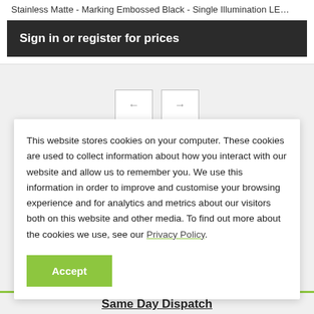Stainless Matte - Marking Embossed Black - Single Illumination LE…
Sign in or register for prices
[Figure (other): Navigation arrows: left arrow button and right arrow button]
This website stores cookies on your computer. These cookies are used to collect information about how you interact with our website and allow us to remember you. We use this information in order to improve and customise your browsing experience and for analytics and metrics about our visitors both on this website and other media. To find out more about the cookies we use, see our Privacy Policy.
Accept
Same Day Dispatch